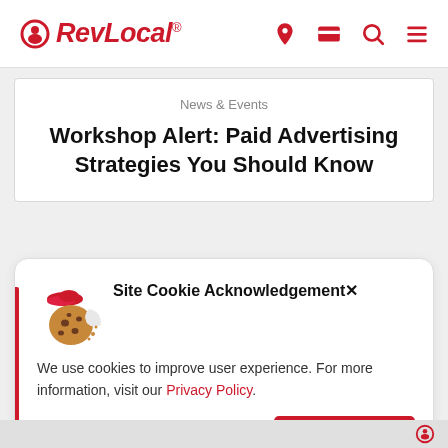RevLocal® [navigation icons: location, card, search, menu]
News & Events
Workshop Alert: Paid Advertising Strategies You Should Know
Site Cookie Acknowledgement
We use cookies to improve user experience. For more information, visit our Privacy Policy.
ACCEPT